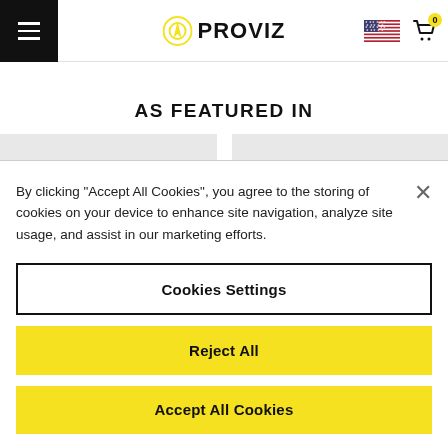[Figure (logo): Proviz logo with circular icon and brand name in black bold text]
AS FEATURED IN
By clicking “Accept All Cookies”, you agree to the storing of cookies on your device to enhance site navigation, analyze site usage, and assist in our marketing efforts.
Cookies Settings
Reject All
Accept All Cookies